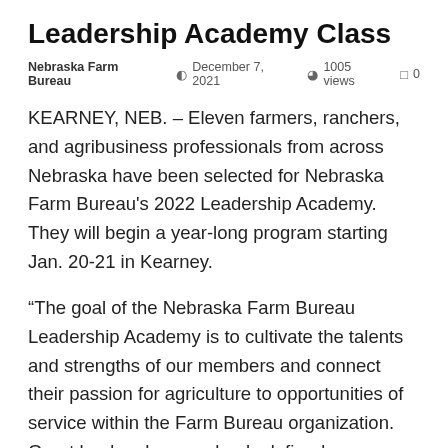Leadership Academy Class
Nebraska Farm Bureau  ·  December 7, 2021  ·  1005 views  ·  0
KEARNEY, NEB. – Eleven farmers, ranchers, and agribusiness professionals from across Nebraska have been selected for Nebraska Farm Bureau's 2022 Leadership Academy. They will begin a year-long program starting Jan. 20-21 in Kearney.
“The goal of the Nebraska Farm Bureau Leadership Academy is to cultivate the talents and strengths of our members and connect their passion for agriculture to opportunities of service within the Farm Bureau organization. Great leaders have a clearly defined purpose, purpose fuels passion and work ethic. By developing leadership skills, academy members can develop their passions and positively impact their local